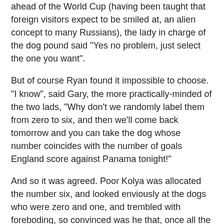ahead of the World Cup (having been taught that foreign visitors expect to be smiled at, an alien concept to many Russians), the lady in charge of the dog pound said "Yes no problem, just select the one you want".
But of course Ryan found it impossible to choose. "I know", said Gary, the more practically-minded of the two lads, "Why don't we randomly label them from zero to six, and then we'll come back tomorrow and you can take the dog whose number coincides with the number of goals England score against Panama tonight!"
And so it was agreed. Poor Kolya was allocated the number six, and looked enviously at the dogs who were zero and one, and trembled with foreboding, so convinced was he that, once all the World Cup visitors had departed, it would be the firing squad for him.
After all, it was impossible to imagine that England, with their lamentable recent record, could ever score six goals in a single World Cup game. Wasn't it?
The next day, Ryan and Gary returned, looking for their...